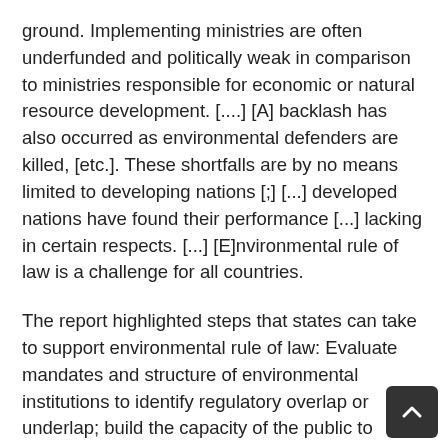ground. Implementing ministries are often underfunded and politically weak in comparison to ministries responsible for economic or natural resource development. [....] [A] backlash has also occurred as environmental defenders are killed, [etc.]. These shortfalls are by no means limited to developing nations [;] [...] developed nations have found their performance [...] lacking in certain respects. [...] [E]nvironmental rule of law is a challenge for all countries.
The report highlighted steps that states can take to support environmental rule of law: Evaluate mandates and structure of environmental institutions to identify regulatory overlap or underlap; build the capacity of the public to engage thoughtfully and meaningfully with government and project proponents; prioritize protection of environmental defenders and whistleblowers; creation of environmental courts and tribunals, use administrative enforcement processes to handle minor offenses. The benefits of environmental